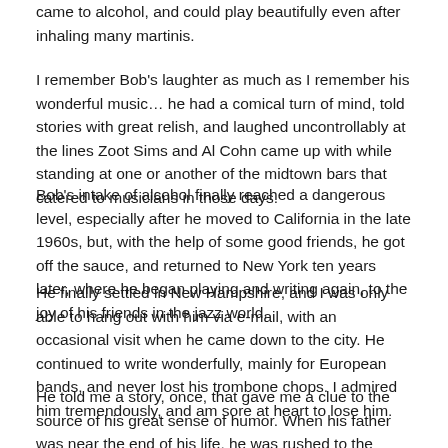came to alcohol, and could play beautifully even after inhaling many martinis.
I remember Bob's laughter as much as I remember his wonderful music… he had a comical turn of mind, told stories with great relish, and laughed uncontrollably at the lines Zoot Sims and Al Cohn came up with while standing at one or another of the midtown bars that catered to musicians in those days.
Bob's intake of alcohol finally reached a dangerous level, especially after he moved to California in the late 1960s, but, with the help of some good friends, he got off the sauce, and returned to New York ten years later, where he began playing and writing again, to the joy of his friends in the jazz world.
He finally settled in New Hampshire, and I was only able to hang out with him via e-mail, with an occasional visit when he came down to the city. He continued to write wonderfully, mainly for European bands, and never lost his trombone chops. I admired him tremendously, and am sore at heart to lose him.
He told me a story, once, that gave me a clue to the source of his great sense of humor. When his father was near the end of his life, he was rushed to the hospital after a paralyzing stroke. As he lay on an ambulance stretcher in the